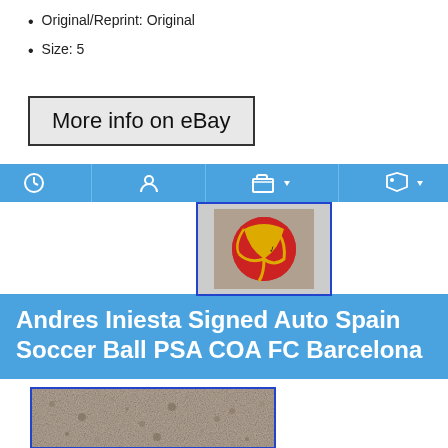Original/Reprint: Original
Size: 5
[Figure (screenshot): Button/link styled element reading 'More info on eBay']
[Figure (screenshot): Navigation bar with icons: clock, person, folder with dropdown, tag with dropdown]
[Figure (photo): Small photo of a red and yellow soccer ball with blue border]
Andres Iniesta Signed Auto Spain Soccer Ball PSA COA FC Barcelona
[Figure (photo): Partial photo of a gravel/carpet surface with blue border]